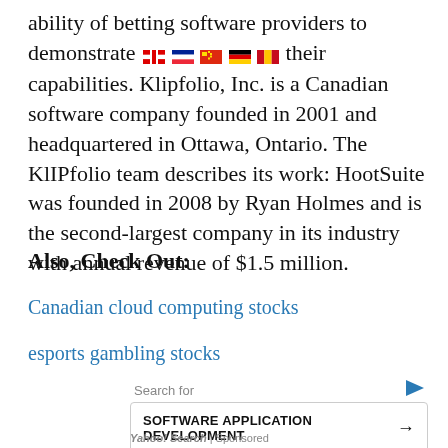ability of betting software providers to demonstrate their capabilities. Klipfolio, Inc. is a Canadian software company founded in 2001 and headquartered in Ottawa, Ontario. The KlIPfolio team describes its work: HootSuite was founded in 2008 by Ryan Holmes and is the second-largest company in its industry with annual revenue of $1.5 million.
Also, Check Out:
Canadian cloud computing stocks
esports gambling stocks
Search for
SOFTWARE APPLICATION DEVELOPMENT →
INSTANT MESSAGING SOFTWARE →
Yahoo! Search | Sponsored